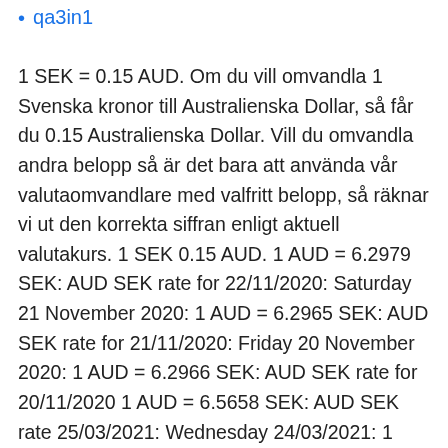qa3in1
1 SEK = 0.15 AUD. Om du vill omvandla 1 Svenska kronor till Australienska Dollar, så får du 0.15 Australienska Dollar. Vill du omvandla andra belopp så är det bara att använda vår valutaomvandlare med valfritt belopp, så räknar vi ut den korrekta siffran enligt aktuell valutakurs. 1 SEK 0.15 AUD. 1 AUD = 6.2979 SEK: AUD SEK rate for 22/11/2020: Saturday 21 November 2020: 1 AUD = 6.2965 SEK: AUD SEK rate for 21/11/2020: Friday 20 November 2020: 1 AUD = 6.2966 SEK: AUD SEK rate for 20/11/2020 1 AUD = 6.5658 SEK: AUD SEK rate 25/03/2021: Wednesday 24/03/2021: 1 AUD = 6.53828 SEK: AUD SEK rate 24/03/2021: Tuesday 23/03/2021: 1 AUD = 6.54434 SEK: AUD SEK rate